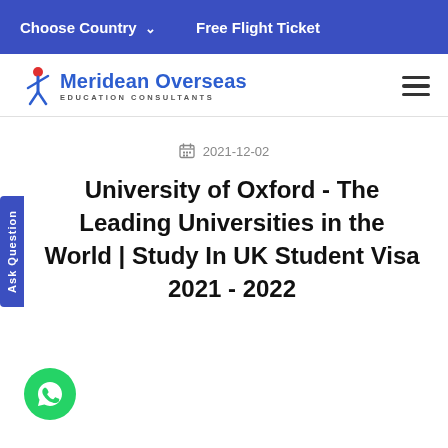Choose Country  ∨    Free Flight Ticket
[Figure (logo): Meridean Overseas Education Consultants logo with stylized person figure and blue text]
2021-12-02
University of Oxford - The Leading Universities in the World | Study In UK Student Visa 2021 - 2022